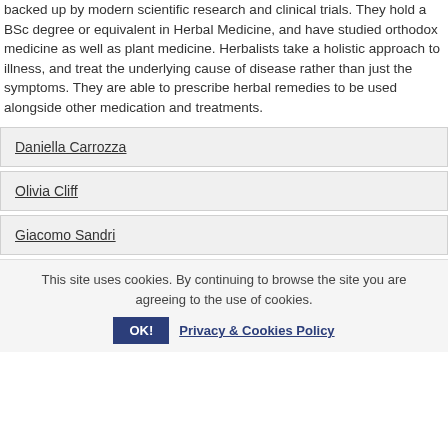backed up by modern scientific research and clinical trials. They hold a BSc degree or equivalent in Herbal Medicine, and have studied orthodox medicine as well as plant medicine. Herbalists take a holistic approach to illness, and treat the underlying cause of disease rather than just the symptoms. They are able to prescribe herbal remedies to be used alongside other medication and treatments.
Daniella Carrozza
Olivia Cliff
Giacomo Sandri
This site uses cookies. By continuing to browse the site you are agreeing to the use of cookies. OK! Privacy & Cookies Policy